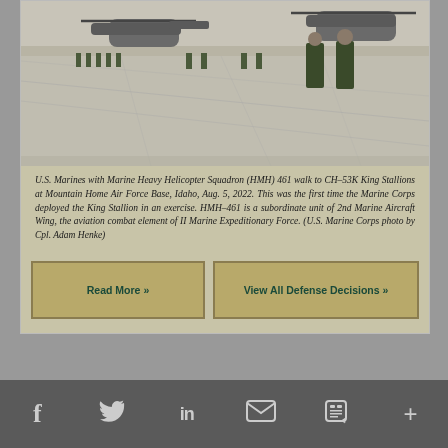[Figure (photo): U.S. Marines walking on a tarmac toward CH-53K King Stallion helicopters at Mountain Home Air Force Base, Idaho. Several military personnel in green uniforms are visible on the airfield, with large helicopters parked in the background.]
U.S. Marines with Marine Heavy Helicopter Squadron (HMH) 461 walk to CH-53K King Stallions at Mountain Home Air Force Base, Idaho, Aug. 5, 2022. This was the first time the Marine Corps deployed the King Stallion in an exercise. HMH-461 is a subordinate unit of 2nd Marine Aircraft Wing, the aviation combat element of II Marine Expeditionary Force. (U.S. Marine Corps photo by Cpl. Adam Henke)
Read More »
View All Defense Decisions »